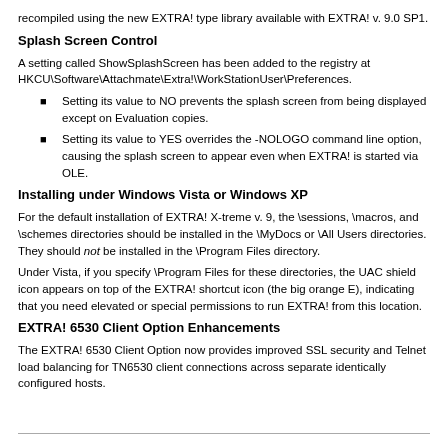recompiled using the new EXTRA! type library available with EXTRA! v. 9.0 SP1.
Splash Screen Control
A setting called ShowSplashScreen has been added to the registry at HKCU\Software\Attachmate\Extra!\WorkStationUser\Preferences.
Setting its value to NO prevents the splash screen from being displayed except on Evaluation copies.
Setting its value to YES overrides the -NOLOGO command line option, causing the splash screen to appear even when EXTRA! is started via OLE.
Installing under Windows Vista or Windows XP
For the default installation of EXTRA! X-treme v. 9, the \sessions, \macros, and \schemes directories should be installed in the \MyDocs or \All Users directories. They should not be installed in the \Program Files directory.
Under Vista, if you specify \Program Files for these directories, the UAC shield icon appears on top of the EXTRA! shortcut icon (the big orange E), indicating that you need elevated or special permissions to run EXTRA! from this location.
EXTRA! 6530 Client Option Enhancements
The EXTRA! 6530 Client Option now provides improved SSL security and Telnet load balancing for TN6530 client connections across separate identically configured hosts.